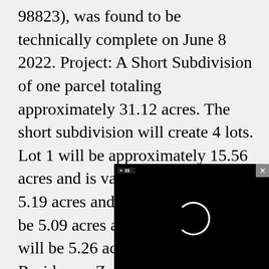98823), was found to be technically complete on June 8 2022. Project: A Short Subdivision of one parcel totaling approximately 31.12 acres. The short subdivision will create 4 lots. Lot 1 will be approximately 15.56 acres and is vacant. Lot 2 will be 5.19 acres and is vacant. Lot 3 will be 5.09 acres and is vacant. Lot 4 will be 5.26 acres and contains a Residence. Zoning is Rural Residential 1 (RR1). Location of Proposal: The site property is located of private Rd 12.3 N proposed division Northwest 1/4 of th Southwest 1/ Sectio
[Figure (other): Black video overlay panel with a loading spinner (white circle) and a small label in the top left corner, and an X close button in the top right corner.]